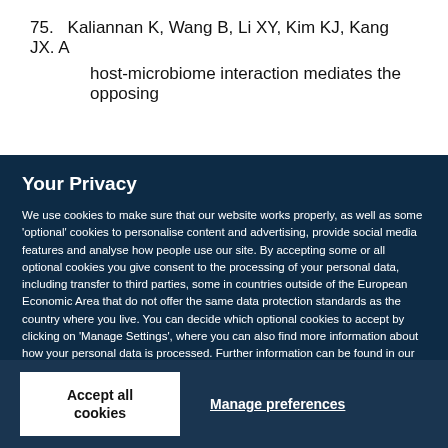75. Kaliannan K, Wang B, Li XY, Kim KJ, Kang JX. A host-microbiome interaction mediates the opposing
Your Privacy
We use cookies to make sure that our website works properly, as well as some 'optional' cookies to personalise content and advertising, provide social media features and analyse how people use our site. By accepting some or all optional cookies you give consent to the processing of your personal data, including transfer to third parties, some in countries outside of the European Economic Area that do not offer the same data protection standards as the country where you live. You can decide which optional cookies to accept by clicking on 'Manage Settings', where you can also find more information about how your personal data is processed. Further information can be found in our privacy policy.
Accept all cookies
Manage preferences